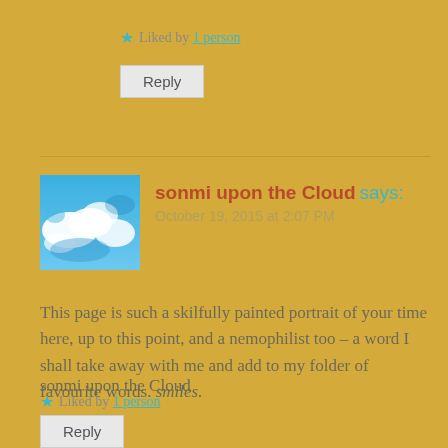★ Liked by 1 person
Reply
sonmi upon the Cloud says: October 19, 2015 at 2:07 PM
[Figure (photo): Avatar photo showing clouds and blue sky]
This page is such a skilfully painted portrait of your time here, up to this point, and a nemophilist too – a word I shall take away with me and add to my folder of favourite words. smiles.
sonmi upon the Cloud
★ Liked by 1 person
Reply